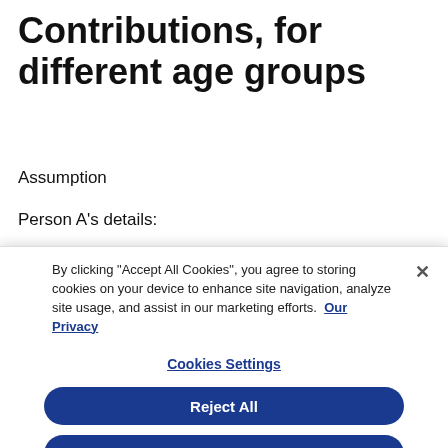Contributions, for different age groups
Assumption
Person A's details:
By clicking "Accept All Cookies", you agree to storing cookies on your device to enhance site navigation, analyze site usage, and assist in our marketing efforts.  Our Privacy
Cookies Settings
Reject All
Accept All Cookies